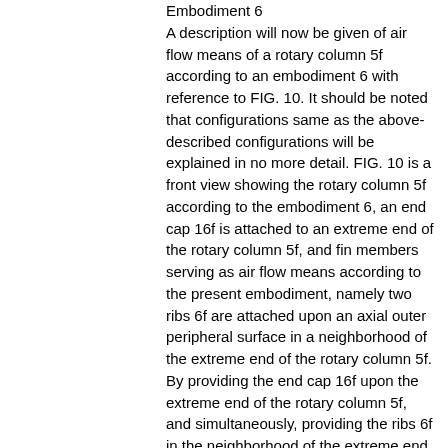Embodiment 6
A description will now be given of air flow means of a rotary column 5f according to an embodiment 6 with reference to FIG. 10. It should be noted that configurations same as the above-described configurations will be explained in no more detail. FIG. 10 is a front view showing the rotary column 5f according to the embodiment 6, an end cap 16f is attached to an extreme end of the rotary column 5f, and fin members serving as air flow means according to the present embodiment, namely two ribs 6f are attached upon an axial outer peripheral surface in a neighborhood of the extreme end of the rotary column 5f. By providing the end cap 16f upon the extreme end of the rotary column 5f, and simultaneously, providing the ribs 6f in the neighborhood of the extreme end of the rotary column 5f, it is possible to increase the Magnus lift Y generated in the neighborhood of the extreme end of the rotary column 5f. Embodiment 7 A description will now be given of air flow means of a rotary column 5g according to an embodiment 7 with reference to FIG. 11. It should be noted that configurations same as the above-described